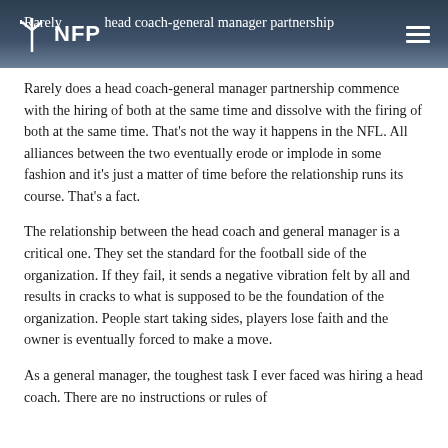NFP
Rarely does a head coach-general manager partnership commence with the hiring of both at the same time and dissolve with the firing of both at the same time. That's not the way it happens in the NFL. All alliances between the two eventually erode or implode in some fashion and it's just a matter of time before the relationship runs its course. That's a fact.
The relationship between the head coach and general manager is a critical one. They set the standard for the football side of the organization. If they fail, it sends a negative vibration felt by all and results in cracks to what is supposed to be the foundation of the organization. People start taking sides, players lose faith and the owner is eventually forced to make a move.
As a general manager, the toughest task I ever faced was hiring a head coach. There are no instructions or rules of